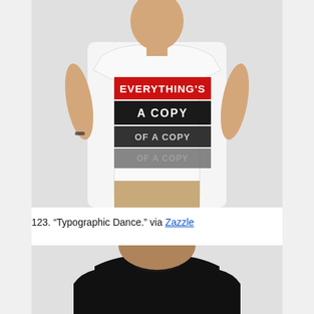[Figure (photo): Man wearing a white t-shirt with 'EVERYTHING'S A COPY OF A COPY OF A COPY' printed in red and black blocks on the front]
123. “Typographic Dance.” via Zazzle
[Figure (photo): Person wearing a plain black t-shirt, shown from shoulders up]